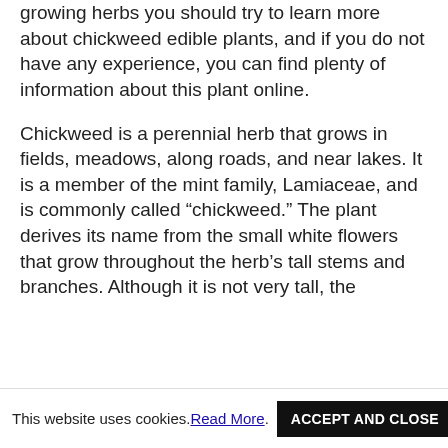growing herbs you should try to learn more about chickweed edible plants, and if you do not have any experience, you can find plenty of information about this plant online.
Chickweed is a perennial herb that grows in fields, meadows, along roads, and near lakes. It is a member of the mint family, Lamiaceae, and is commonly called “chickweed.” The plant derives its name from the small white flowers that grow throughout the herb’s tall stems and branches. Although it is not very tall, the
This website uses cookies. Read More . ACCEPT AND CLOSE